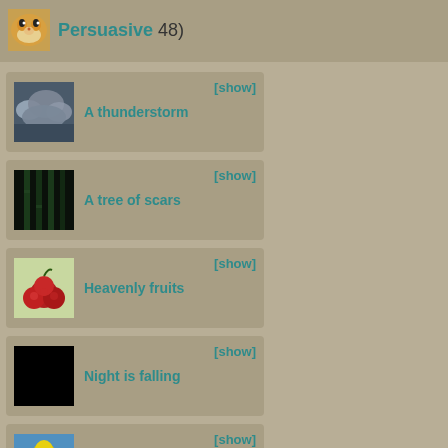Persuasive 48)
A thunderstorm [show]
A tree of scars [show]
Heavenly fruits [show]
Night is falling [show]
Orange lilies [show]